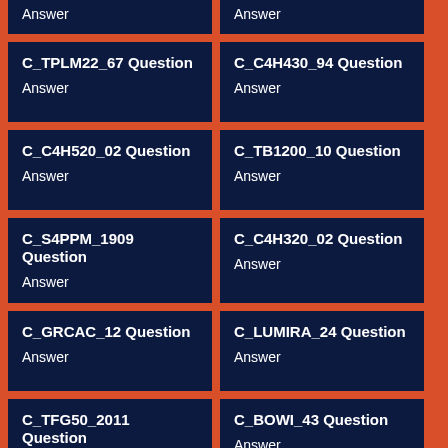Answer
Answer
C_TPLM22_67 Question
Answer
C_C4H430_94 Question
Answer
C_C4H520_02 Question
Answer
C_TB1200_10 Question
Answer
C_S4PPM_1909 Question
Answer
C_C4H320_02 Question
Answer
C_GRCAC_12 Question
Answer
C_LUMIRA_24 Question
Answer
C_TFG50_2011 Question
Answer
C_BOWI_43 Question
Answer